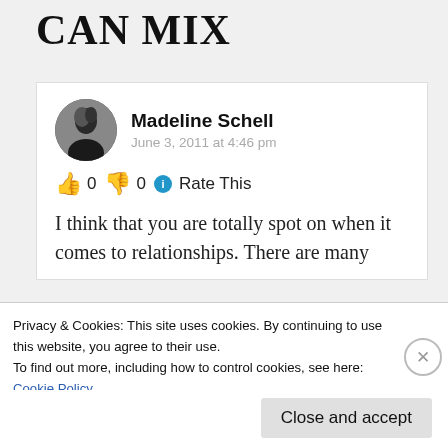CAN MIX
Madeline Schell
June 3, 2011 at 4:46 pm
👍 0 👎 0 ℹ Rate This
I think that you are totally spot on when it comes to relationships. There are many
Privacy & Cookies: This site uses cookies. By continuing to use this website, you agree to their use.
To find out more, including how to control cookies, see here:
Cookie Policy
Close and accept